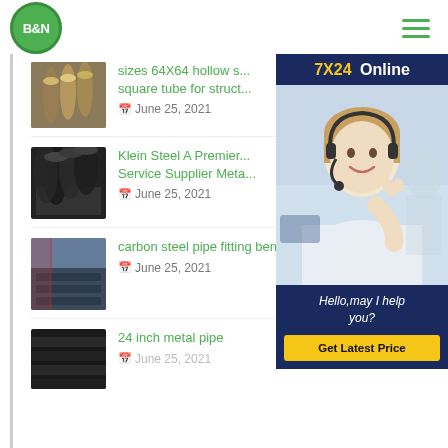B&N
[Figure (photo): Gold/bronze cylindrical pipes thumbnail]
sizes 64X64 hollow s... square tube for struct...
June 25, 2021
[Figure (photo): Dark steel round tubes bundle thumbnail]
Klein Steel A Premier... Service Supplier Meta...
June 25, 2021
[Figure (photo): Warehouse with stacked steel pipes thumbnail]
carbon steel pipe fitting bend
June 25, 2021
[Figure (photo): Dark metal pipes bundle thumbnail]
24 inch metal pipe
June 25, 2021
[Figure (photo): Customer service representative with headset - 7X24 Online chat widget overlay]